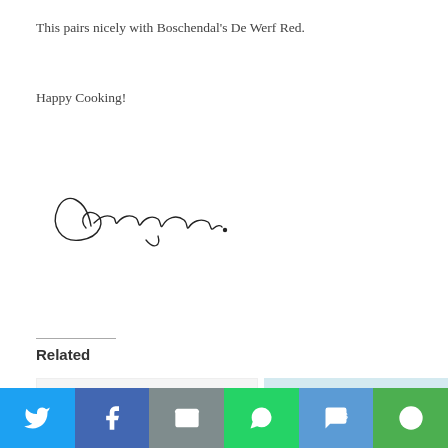This pairs nicely with Boschendal's De Werf Red.
Happy Cooking!
[Figure (illustration): Handwritten cursive signature reading 'Germarie.']
Related
[Figure (photo): Placeholder card for Winter Herb Garden article]
Winter Herb Garden
May 5, 2014
[Figure (photo): Family sitting around a dining table eating together, bright interior]
Caravan renovations that will make you want to bu
[Figure (infographic): Social media share bar with Twitter, Facebook, Email, WhatsApp, SMS, and More buttons]